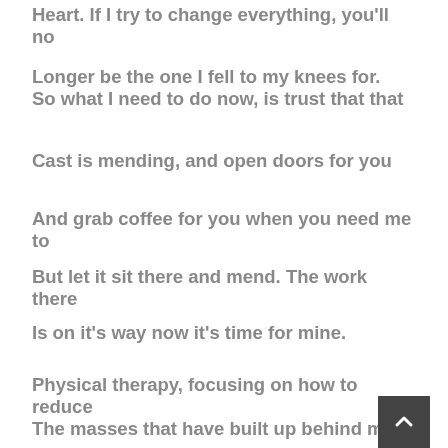Heart. If I try to change everything, you'll no
Longer be the one I fell to my knees for.
So what I need to do now, is trust that that
Cast is mending, and open doors for you
And grab coffee for you when you need me to
But let it sit there and mend. The work there
Is on it’s way now it’s time for mine.
Physical therapy, focusing on how to reduce
The masses that have built up behind me,